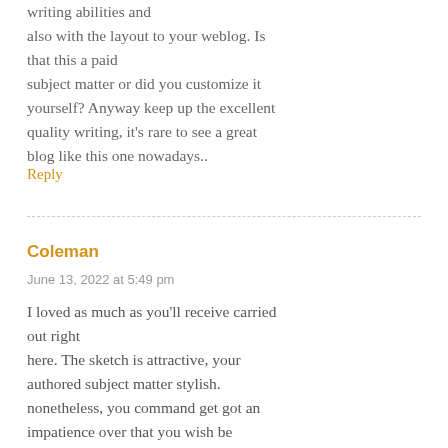writing abilities and also with the layout to your weblog. Is that this a paid subject matter or did you customize it yourself? Anyway keep up the excellent quality writing, it's rare to see a great blog like this one nowadays..
Reply
Coleman
June 13, 2022 at 5:49 pm
I loved as much as you'll receive carried out right here. The sketch is attractive, your authored subject matter stylish. nonetheless, you command get got an impatience over that you wish be delivering the following. unwell unquestionably come further